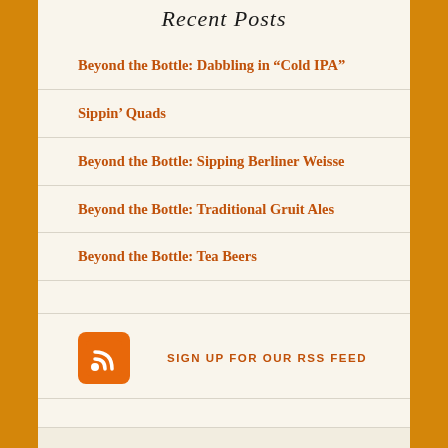Recent Posts
Beyond the Bottle: Dabbling in “Cold IPA”
Sippin’ Quads
Beyond the Bottle: Sipping Berliner Weisse
Beyond the Bottle: Traditional Gruit Ales
Beyond the Bottle: Tea Beers
[Figure (logo): RSS feed icon - orange rounded square with white RSS signal symbol]
SIGN UP FOR OUR RSS FEED
Archives